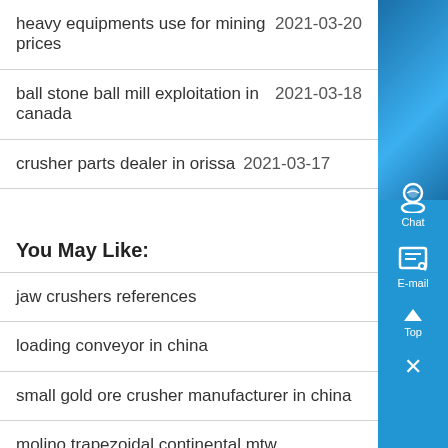heavy equipments use for mining prices  2021-03-20
ball stone ball mill exploitation in canada  2021-03-18
crusher parts dealer in orissa  2021-03-17
You May Like:
jaw crushers references
loading conveyor in china
small gold ore crusher manufacturer in china
molino trapezoidal continental mtw
machine for crushing and mixing manure
limestone and gypsum crushing equipment
bagaimana cara menghitung dari adb ke nar in jakarta